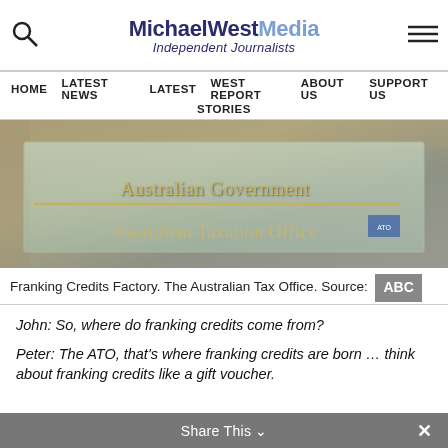MichaelWest Media Independent Journalists
HOME   LATEST NEWS   LATEST   WEST REPORT   ABOUT US   SUPPORT US   STORIES
[Figure (photo): Photo of Australian Government Australian Taxation Office building sign]
Franking Credits Factory. The Australian Tax Office. Source: ABC
John: So, where do franking credits come from?
Peter: The ATO, that's where franking credits are born … think about franking credits like a gift voucher.
Share This